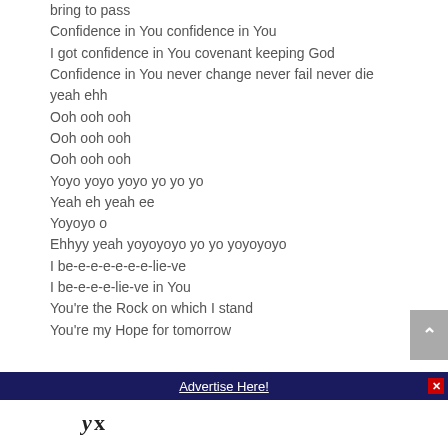I got confidence in You what You promise You will bring to pass
Confidence in You confidence in You
I got confidence in You covenant keeping God
Confidence in You never change never fail never die
yeah ehh
Ooh ooh ooh
Ooh ooh ooh
Ooh ooh ooh
Yoyo yoyo yoyo yo yo yo
Yeah eh yeah ee
Yoyoyo o
Ehhyy yeah yoyoyoyo yo yo yoyoyoyo
I be-e-e-e-e-e-e-lie-ve
I be-e-e-e-lie-ve in You
You're the Rock on which I stand
You're my Hope for tomorrow
Advertise Here!